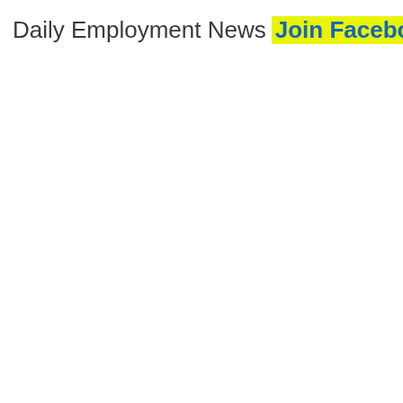Daily Employment News  Join FacebookPage™ Click